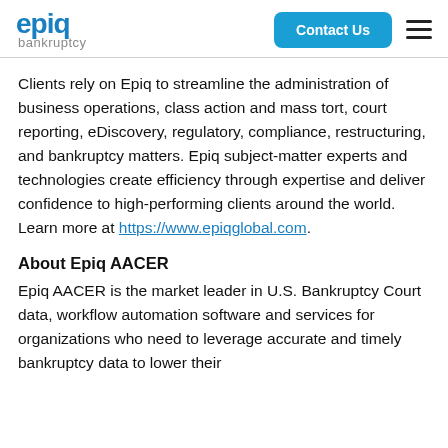epiq bankruptcy | Contact Us
Clients rely on Epiq to streamline the administration of business operations, class action and mass tort, court reporting, eDiscovery, regulatory, compliance, restructuring, and bankruptcy matters. Epiq subject-matter experts and technologies create efficiency through expertise and deliver confidence to high-performing clients around the world. Learn more at https://www.epiqglobal.com.
About Epiq AACER
Epiq AACER is the market leader in U.S. Bankruptcy Court data, workflow automation software and services for organizations who need to leverage accurate and timely bankruptcy data to lower their